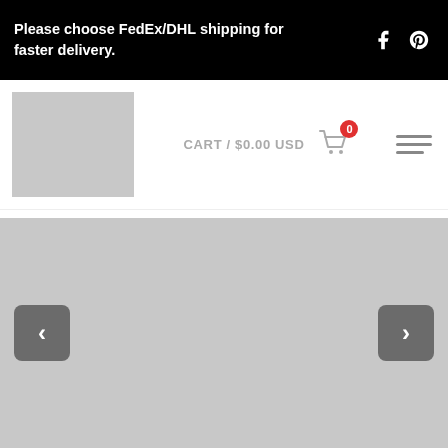Please choose FedEx/DHL shipping for faster delivery.
[Figure (screenshot): Website navigation bar with logo placeholder, cart showing $0.00 USD with 0 items badge, and hamburger menu icon. Social media icons (Facebook, Pinterest) in top right of banner.]
[Figure (photo): Image slider with gray placeholder image, left arrow button and right arrow button on either side.]